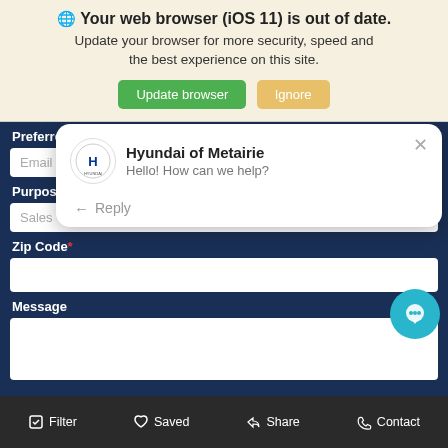Your web browser (iOS 11) is out of date. Update your browser for more security, speed and the best experience on this site.
Update browser
Ignore
Preferred Me
Email
Purpose of Co
Sales
Hyundai of Metairie
Hello! How can we help?
Reply
Zip Code
Message
Filter
Saved
Share
Contact